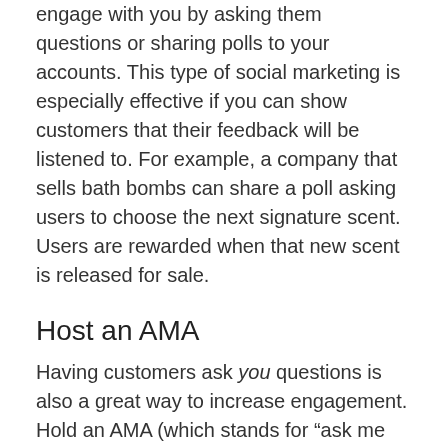engage with you by asking them questions or sharing polls to your accounts. This type of social marketing is especially effective if you can show customers that their feedback will be listened to. For example, a company that sells bath bombs can share a poll asking users to choose the next signature scent. Users are rewarded when that new scent is released for sale.
Host an AMA
Having customers ask you questions is also a great way to increase engagement. Hold an AMA (which stands for “ask me anything”) on your social accounts and let your brand’s personality really shine through your